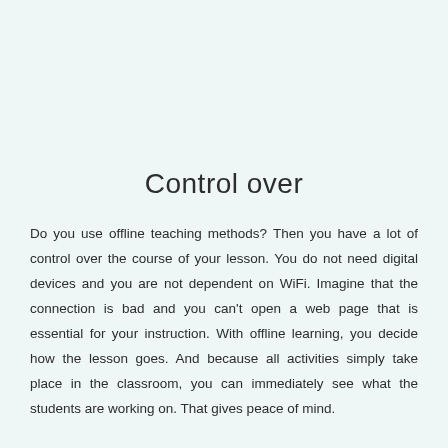Control over
Do you use offline teaching methods? Then you have a lot of control over the course of your lesson. You do not need digital devices and you are not dependent on WiFi. Imagine that the connection is bad and you can't open a web page that is essential for your instruction. With offline learning, you decide how the lesson goes. And because all activities simply take place in the classroom, you can immediately see what the students are working on. That gives peace of mind.